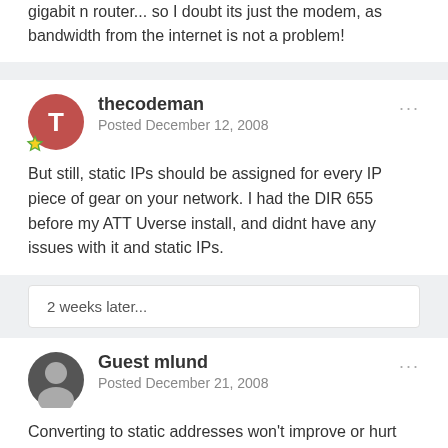gigabit n router... so I doubt its just the modem, as bandwidth from the internet is not a problem!
thecodeman
Posted December 12, 2008
But still, static IPs should be assigned for every IP piece of gear on your network. I had the DIR 655 before my ATT Uverse install, and didnt have any issues with it and static IPs.
2 weeks later...
Guest mlund
Posted December 21, 2008
Converting to static addresses won't improve or hurt music synching issues. Adding devices to your network is also unlikely to hurt it in any of the ways you are predicting. static ips don't